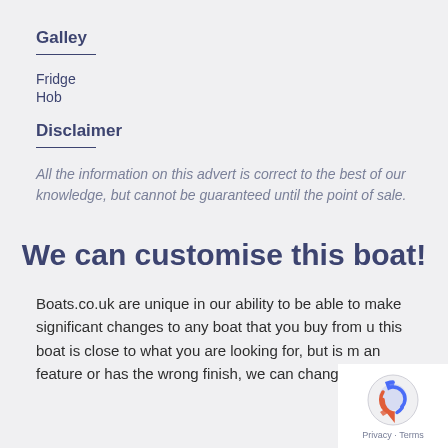Galley
Fridge
Hob
Disclaimer
All the information on this advert is correct to the best of our knowledge, but cannot be guaranteed until the point of sale.
We can customise this boat!
Boats.co.uk are unique in our ability to be able to make significant changes to any boat that you buy from us. If this boat is close to what you are looking for, but is missing an feature or has the wrong finish, we can change it.